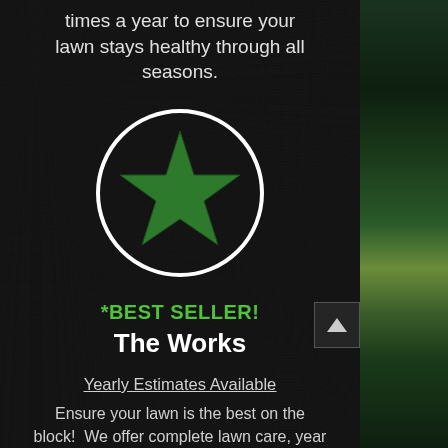times a year to ensure your lawn stays healthy through all seasons.
[Figure (illustration): Green star inside a white circle on dark textured background]
*BEST SELLER!
The Works
Yearly Estimates Available
Ensure your lawn is the best on the block! We offer complete lawn care, year around, at a price you just can't beat.